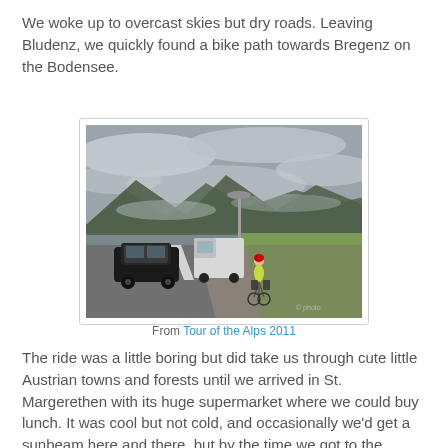We woke up to overcast skies but dry roads. Leaving Bludenz, we quickly found a bike path towards Bregenz on the Bodensee.
[Figure (photo): A cyclist in a yellow jacket riding on a bike path beside a road in an alpine valley. A black car and white truck are on the road. Green fields and mountains with low clouds in the background under an overcast sky.]
From Tour of the Alps 2011
The ride was a little boring but did take us through cute little Austrian towns and forests until we arrived in St. Margerethen with its huge supermarket where we could buy lunch. It was cool but not cold, and occasionally we'd get a sunbeam here and there, but by the time we got to the